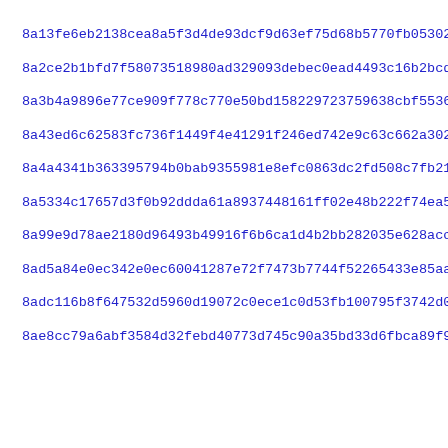8a13fe6eb2138cea8a5f3d4de93dcf9d63ef75d68b5770fb0530232e534af
8a2ce2b1bfd7f58073518980ad329093debec0ead4493c16b2bcdb800d4b9
8a3b4a9896e77ce909f778c770e50bd158229723759638cbf5536ee78e0fe
8a43ed6c62583fc736f1449f4e41291f246ed742e9c63c662a302973ec1ca
8a4a4341b363395794b0bab9355981e8efc0863dc2fd508c7fb21c6daeff4
8a5334c17657d3f0b92ddda61a89374481 61ff02e48b222f74ea579bf8867
8a99e9d78ae2180d96493b49916f6b6ca1d4b2bb282035e628accf8f7c428
8ad5a84e0ec342e0ec60041287e72f7473b7744f52265433e85aa9582a4bb
8adc116b8f647532d5960d19072c0ece1c0d53fb100795f3742d063a280fa
8ae8cc79a6abf3584d32febd40773d745c90a35bd33d6fbca89f9dc9211c9